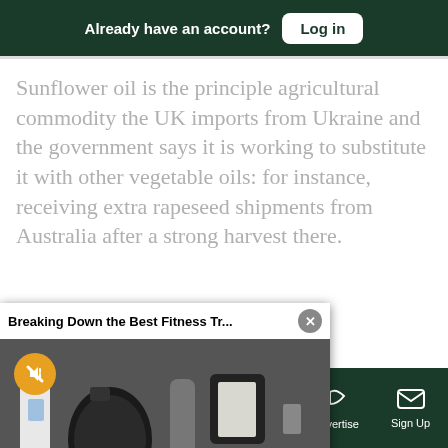Already have an account? Log in
Sunflower oil is the principle agricultural commodity the UK imports from Ukraine and the government says it is working to substitute it with other vegetable oils: for instance, receiving extra rapeseed shipments from Australia after a strong harvest there.
[Figure (screenshot): Video popup overlay titled 'Breaking Down the Best Fitness Tr...' with a close (X) button, showing fitness trackers/wearables image, with a muted speaker button (orange circle).]
or Environment, Food ng closely with ederation of Fish Friers to mitigate the challenges that they are facing"
Sections  NY Edition  Philly  Games  Advertise  Sign Up